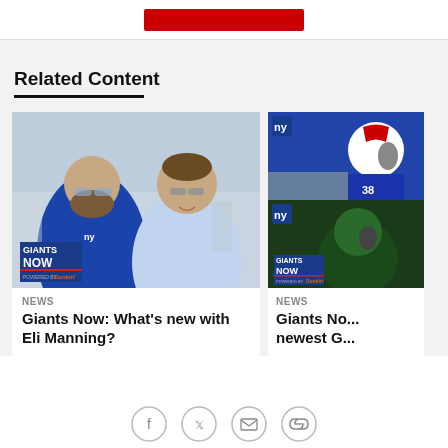Related Content
[Figure (photo): Photo of two men in Giants gear talking on a football field sideline, with Giants Now / Powered by Dunkin badge overlay]
NEWS
Giants Now: What's new with Eli Manning?
[Figure (photo): Two stacked photos: top shows a Buffalo Bills player in blue uniform, bottom shows a Jets player in green uniform, each with Giants Now badge]
NEWS
Giants No... newest G...
Social share icons: Facebook, Twitter, Email, Link